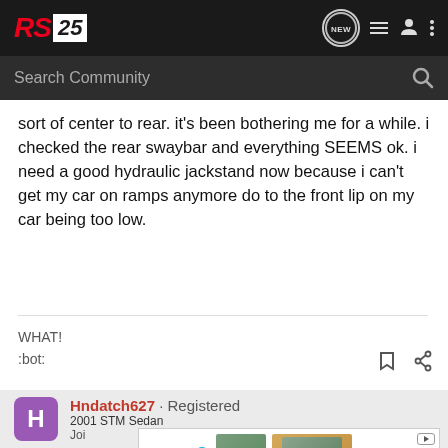[Figure (logo): RS25 forum logo in red and white on dark background header bar with navigation icons (NEW chat bubble, list icon, user icon, three dots menu)]
Search Community
sort of center to rear. it's been bothering me for a while. i checked the rear swaybar and everything SEEMS ok. i need a good hydraulic jackstand now because i can't get my car on ramps anymore do to the front lip on my car being too low.
WHAT!
:bot:
Hndatch627 · Registered
2001 STM Sedan
Joi
[Figure (photo): UNICEF advertisement banner with unicef logo and children in colorful hats smiling]